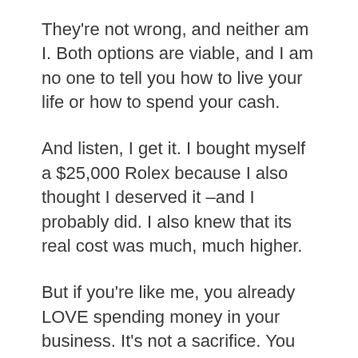They're not wrong, and neither am I. Both options are viable, and I am no one to tell you how to live your life or how to spend your cash.
And listen, I get it. I bought myself a $25,000 Rolex because I also thought I deserved it –and I probably did. I also knew that its real cost was much, much higher.
But if you're like me, you already LOVE spending money in your business. It's not a sacrifice. You want to see your company grow, and you also realize that you don't need to buy shit to impress other people.
The added benefit is that doing that also makes